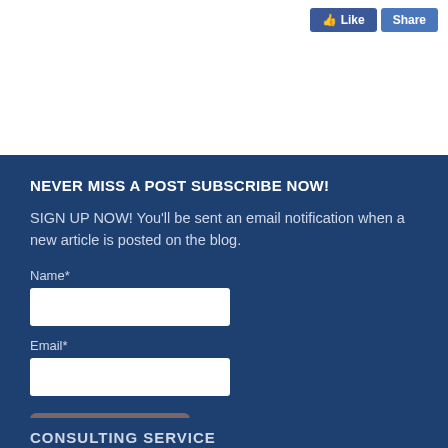[Figure (screenshot): Facebook Like and Share buttons in the top right corner of the page]
NEVER MISS A POST SUBSCRIBE NOW!
SIGN UP NOW! You'll be sent an email notification when a new article is posted on the blog.
Name*
Email*
Subscribe Now
CONSULTING SERVICE